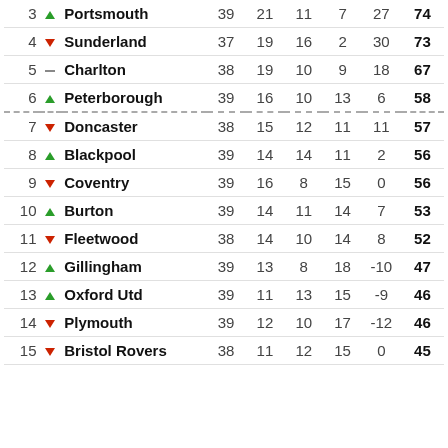| Pos |  | Team | P | W | D | L | GD | Pts |
| --- | --- | --- | --- | --- | --- | --- | --- | --- |
| 3 | ▲ | Portsmouth | 39 | 21 | 11 | 7 | 27 | 74 |
| 4 | ▼ | Sunderland | 37 | 19 | 16 | 2 | 30 | 73 |
| 5 | – | Charlton | 38 | 19 | 10 | 9 | 18 | 67 |
| 6 | ▲ | Peterborough | 39 | 16 | 10 | 13 | 6 | 58 |
| 7 | ▼ | Doncaster | 38 | 15 | 12 | 11 | 11 | 57 |
| 8 | ▲ | Blackpool | 39 | 14 | 14 | 11 | 2 | 56 |
| 9 | ▼ | Coventry | 39 | 16 | 8 | 15 | 0 | 56 |
| 10 | ▲ | Burton | 39 | 14 | 11 | 14 | 7 | 53 |
| 11 | ▼ | Fleetwood | 38 | 14 | 10 | 14 | 8 | 52 |
| 12 | ▲ | Gillingham | 39 | 13 | 8 | 18 | -10 | 47 |
| 13 | ▲ | Oxford Utd | 39 | 11 | 13 | 15 | -9 | 46 |
| 14 | ▼ | Plymouth | 39 | 12 | 10 | 17 | -12 | 46 |
| 15 | ▼ | Bristol Rovers | 38 | 11 | 12 | 15 | 0 | 45 |